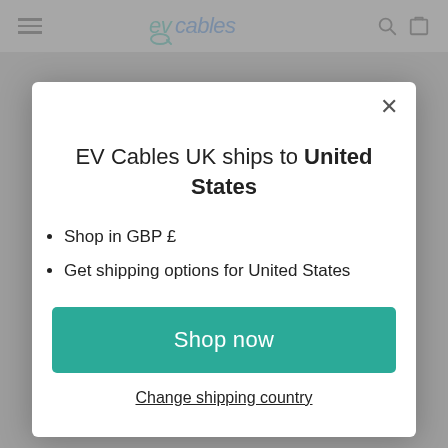EV Cables — navigation bar with hamburger menu, logo, search and cart icons
EV Cables UK ships to United States
Shop in GBP £
Get shipping options for United States
Shop now
Change shipping country
Go up to 124 miles on a single charge